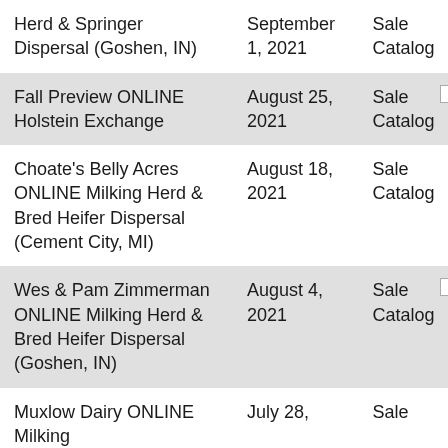| Sale Name | Date | Link |
| --- | --- | --- |
| Herd & Springer Dispersal (Goshen, IN) | September 1, 2021 | Sale Catalog |
| Fall Preview ONLINE Holstein Exchange | August 25, 2021 | Sale Catalog |
| Choate's Belly Acres ONLINE Milking Herd & Bred Heifer Dispersal (Cement City, MI) | August 18, 2021 | Sale Catalog |
| Wes & Pam Zimmerman ONLINE Milking Herd & Bred Heifer Dispersal (Goshen, IN) | August 4, 2021 | Sale Catalog |
| Muxlow Dairy ONLINE Milking | July 28, 2021 | Sale |